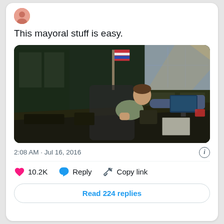This mayoral stuff is easy.
[Figure (photo): Person sitting at a large dark office desk with feet up, leaning back relaxed in a chair. Office setting with windows, a flag, and various desk items visible in background.]
2:08 AM · Jul 16, 2016
10.2K   Reply   Copy link
Read 224 replies